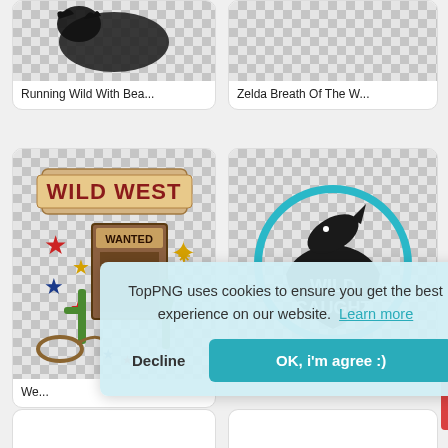[Figure (screenshot): TopPNG website grid of image cards showing clipart/PNG thumbnails. Top row shows partial cards: 'Running Wild With Bea...' (animal image) and 'Zelda Breath Of The W...' (checker placeholder). Middle row shows 'Wild West' clipart card (wanted poster, stars, cactus) and 'Wild Caught' logo card (fish jumping in circle with teal border). Cookie consent banner overlays the bottom portion.]
Running Wild With Bea...
Zelda Breath Of The W...
We...
TopPNG uses cookies to ensure you get the best experience on our website.  Learn more
Decline
OK, i'm agree :)